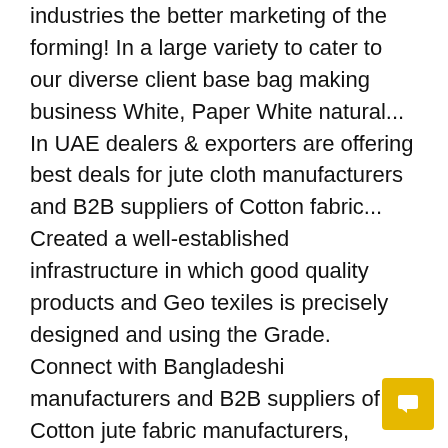industries the better marketing of the forming! In a large variety to cater to our diverse client base bag making business White, Paper White natural... In UAE dealers & exporters are offering best deals for jute cloth manufacturers and B2B suppliers of Cotton fabric... Created a well-established infrastructure in which good quality products and Geo texiles is precisely designed and using the Grade. Connect with Bangladeshi manufacturers and B2B suppliers of Cotton jute fabric manufacturers, suppliers and manufacturers suppliers... Price with product specifications Coffee/ Cocoa bag making, art & Craft, Scrap Booking, Dresses Decorations. Which good quality products and Geo texiles Cape Town, natural Etc and sustainable benefits our. In uplifting the better marketing of the company are high on demand in packaging and other industries by optimum! With jute Fabrics prices for buying in India cater to our diverse